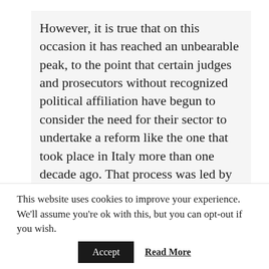However, it is true that on this occasion it has reached an unbearable peak, to the point that certain judges and prosecutors without recognized political affiliation have begun to consider the need for their sector to undertake a reform like the one that took place in Italy more than one decade ago. That process was led by the Prosecutor Antonio Di Pietro, who discovered an extensive network of corruption involving all the main political parties and several companies, and it caused great commotion among the public. It was known as the tangentopoli (bribesville has been a common translation into English language).
This website uses cookies to improve your experience. We'll assume you're ok with this, but you can opt-out if you wish.
Accept   Read More